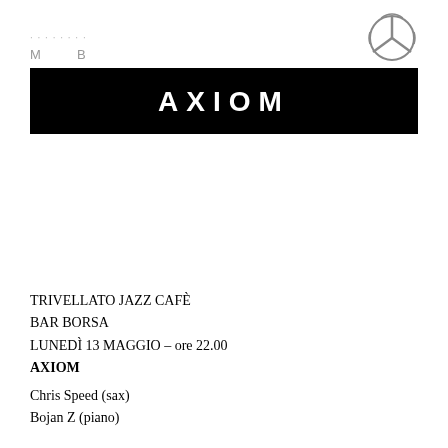[Figure (logo): Partially visible text header and Mercedes-Benz star logo in upper right corner]
AXIOM
TRIVELLATO JAZZ CAFÈ
BAR BORSA
LUNEDÌ 13 MAGGIO – ore 22.00
AXIOM
Chris Speed (sax)
Bojan Z (piano)